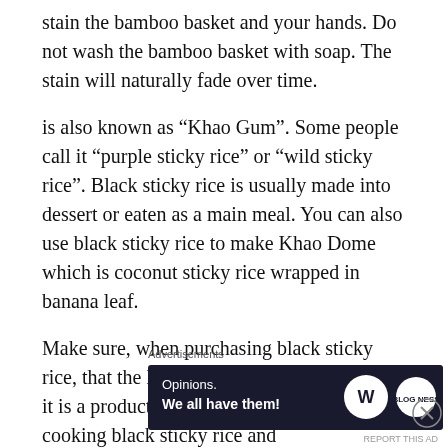stain the bamboo basket and your hands. Do not wash the bamboo basket with soap. The stain will naturally fade over time.
is also known as “Khao Gum”. Some people call it “purple sticky rice” or “wild sticky rice”. Black sticky rice is usually made into dessert or eaten as a main meal. You can also use black sticky rice to make Khao Dome which is coconut sticky rice wrapped in banana leaf.
Make sure, when purchasing black sticky rice, that the label reads “Glutinous” and that it is a product of Thailand. The method of cooking black sticky rice and
Advertisements
[Figure (other): Advertisement banner with dark navy background showing 'Opinions. We all have them!' text with WordPress and another logo circle on the right.]